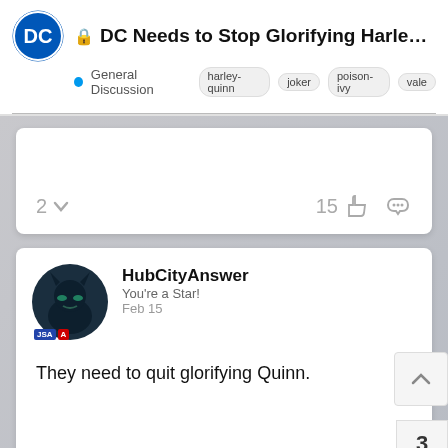DC Needs to Stop Glorifying Harley and... — General Discussion — harley-quinn joker poison-ivy vale
2  15
HubCityAnswer
You're a Star!
Feb 15

They need to quit glorifying Quinn.

1  4
3
127
arkhamassassin